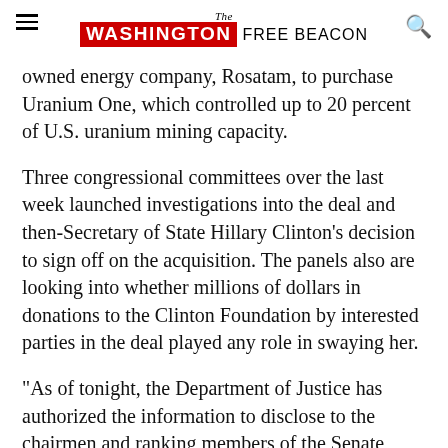The Washington Free Beacon
owned energy company, Rosatam, to purchase Uranium One, which controlled up to 20 percent of U.S. uranium mining capacity.
Three congressional committees over the last week launched investigations into the deal and then-Secretary of State Hillary Clinton's decision to sign off on the acquisition. The panels also are looking into whether millions of dollars in donations to the Clinton Foundation by interested parties in the deal played any role in swaying her.
"As of tonight, the Department of Justice has authorized the information to disclose to the chairmen and ranking members of the Senate